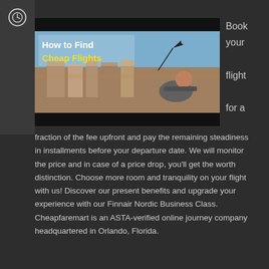[Figure (illustration): Thumbnail image showing 'How to Find Cheap Flights' with a person sitting on a rooftop overlooking a European city, with airplane silhouette and yellow text headline]
Book your flight for a
fraction of the fee upfront and pay the remaining steadiness in installments before your departure date. We will monitor the price and in case of a price drop, you'll get the worth distinction. Choose more room and tranquility on your flight with us! Discover our present benefits and upgrade your experience with our Finnair Nordic Business Class. Cheapfaremart is an ASTA-verified online journey company headquartered in Orlando, Florida.